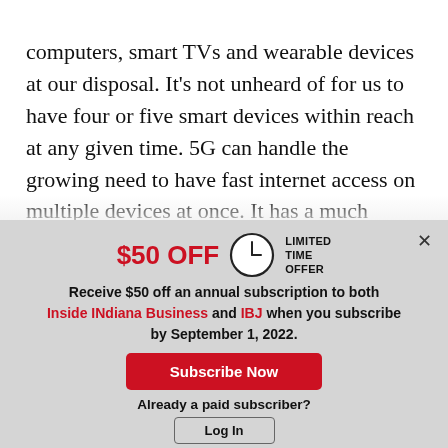computers, smart TVs and wearable devices at our disposal. It's not unheard of for us to have four or five smart devices within reach at any given time. 5G can handle the growing need to have fast internet access on multiple devices at once. It has a much larger capacity than the networks that
[Figure (other): Subscription modal overlay with $50 OFF limited time offer for Inside INdiana Business and IBJ annual subscription by September 1, 2022. Contains Subscribe Now button and Log In button.]